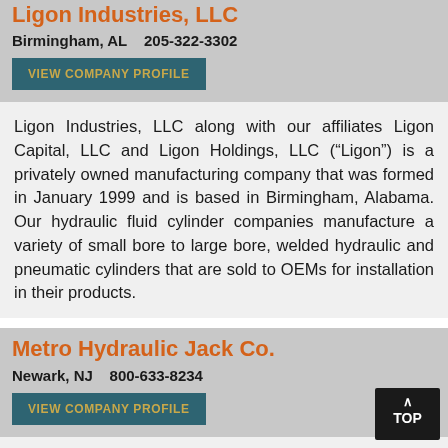Ligon Industries, LLC
Birmingham, AL    205-322-3302
VIEW COMPANY PROFILE
Ligon Industries, LLC along with our affiliates Ligon Capital, LLC and Ligon Holdings, LLC (“Ligon”) is a privately owned manufacturing company that was formed in January 1999 and is based in Birmingham, Alabama. Our hydraulic fluid cylinder companies manufacture a variety of small bore to large bore, welded hydraulic and pneumatic cylinders that are sold to OEMs for installation in their products.
Metro Hydraulic Jack Co.
Newark, NJ    800-633-8234
VIEW COMPANY PROFILE
Metro Hydraulic Jack is a third generation family business dedicated to the highest levels of quality and service. The company tries to add their personal touch to each job insuring that it is done properly and to their customer’s satisfaction. When it comes to hydraulic pistons inquiries call